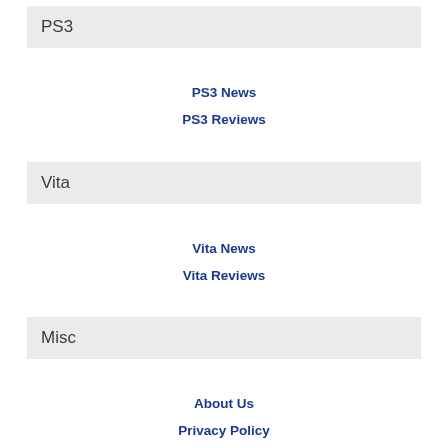PS3
PS3 News
PS3 Reviews
Vita
Vita News
Vita Reviews
Misc
About Us
Privacy Policy
Contact Us
Advertise on PSXE
Write For PSX Extreme